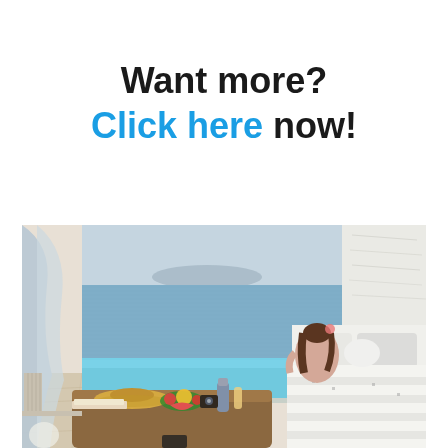Want more? Click here now!
[Figure (photo): A woman sitting on a bed in a bright hotel room looking out a large window overlooking a pool and the sea with a distant island. On a wooden coffee table in the foreground are a hat, fruits, drinks, a camera, and a book. The room has white bedding with small print patterns and white curtains.]